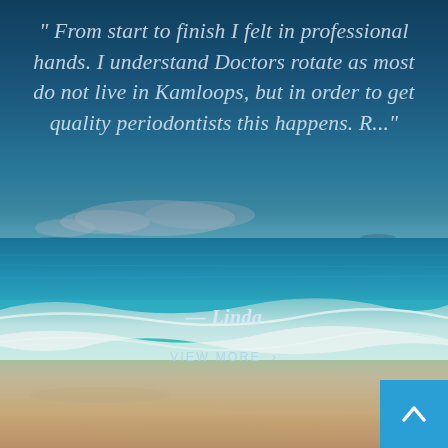[Figure (photo): Ocean beach scene with blue sky, turquoise water waves, and sandy shore. Semi-transparent dark overlay on upper portion. A translucent rectangular box appears in the center-lower area of the image.]
" From start to finish I felt in professional hands. I understand Doctors rotate as most do not live in Kamloops, but in order to get quality periodontists this happens. R..."
— Linda
VIEW MORE ›